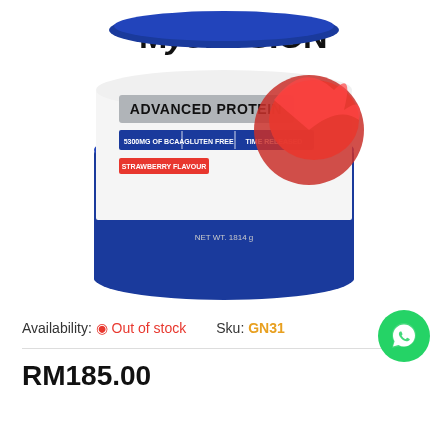[Figure (photo): MyoFusion Advanced Protein supplement container, strawberry flavour, blue and white tub with red strawberry splash graphic. Labels: 5300mg OF BCAA, GLUTEN FREE, TIME RELEASED. NET WT. 1814 g.]
Availability: Out of stock   Sku: GN31
RM185.00